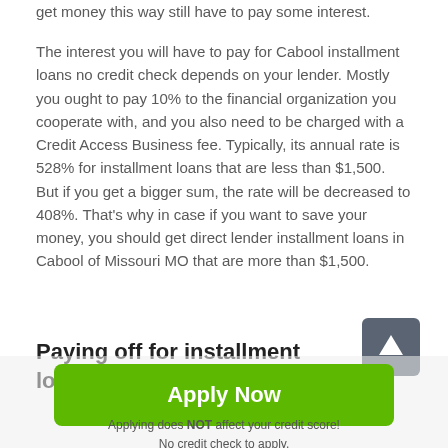get money this way still have to pay some interest.
The interest you will have to pay for Cabool installment loans no credit check depends on your lender. Mostly you ought to pay 10% to the financial organization you cooperate with, and you also need to be charged with a Credit Access Business fee. Typically, its annual rate is 528% for installment loans that are less than $1,500. But if you get a bigger sum, the rate will be decreased to 408%. That's why in case if you want to save your money, you should get direct lender installment loans in Cabool of Missouri MO that are more than $1,500.
Paying off for installment loans in
[Figure (other): Scroll-to-top arrow button, dark gray square with white upward arrow]
Apply Now
Applying does NOT affect your credit score!
No credit check to apply.